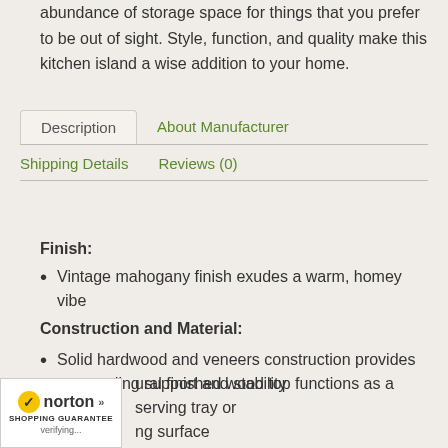abundance of storage space for things that you prefer to be out of sight. Style, function, and quality make this kitchen island a wise addition to your home.
Description | About Manufacturer | Shipping Details | Reviews (0)
Finish:
Vintage mahogany finish exudes a warm, homey vibe
Construction and Material:
Solid hardwood and veneers construction provides outstanding support and stability
Features:
ural finished wood top functions as a serving tray or ng surface